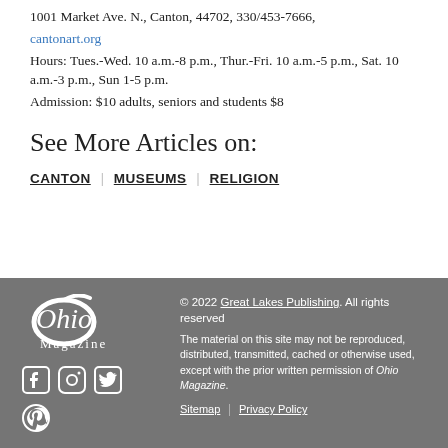1001 Market Ave. N., Canton, 44702, 330/453-7666,
cantonart.org
Hours: Tues.-Wed. 10 a.m.-8 p.m., Thur.-Fri. 10 a.m.-5 p.m., Sat. 10 a.m.-3 p.m., Sun 1-5 p.m.
Admission: $10 adults, seniors and students $8
See More Articles on:
CANTON | MUSEUMS | RELIGION
© 2022 Great Lakes Publishing. All rights reserved The material on this site may not be reproduced, distributed, transmitted, cached or otherwise used, except with the prior written permission of Ohio Magazine. Sitemap | Privacy Policy